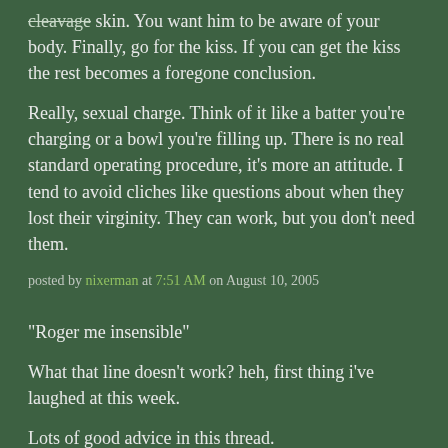cleavage skin. You want him to be aware of your body. Finally, go for the kiss. If you can get the kiss the rest becomes a foregone conclusion.
Really, sexual charge. Think of it like a batter you're charging or a bowl you're filling up. There is no real standard operating procedure, it's more an attitude. I tend to avoid cliches like questions about when they lost their virginity. They can work, but you don't need them.
posted by nixerman at 7:51 AM on August 10, 2005
"Roger me insensible"
What that line doesn't work? heh, first thing i've laughed at this week.
Lots of good advice in this thread.
take it as a good sign that he is staying at your apartment